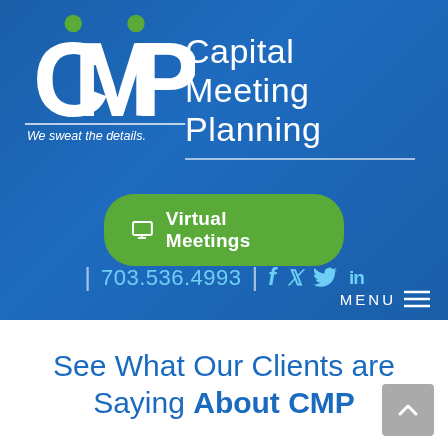[Figure (logo): CMP Capital Meeting Planning logo with green dots above C and P letters, white lettering on blue background. Tagline: We sweat the details.]
[Figure (infographic): Green rounded button with monitor icon and text 'Virtual Meetings']
| 703.536.4993 | f  in
MENU ≡
See What Our Clients are Saying About CMP